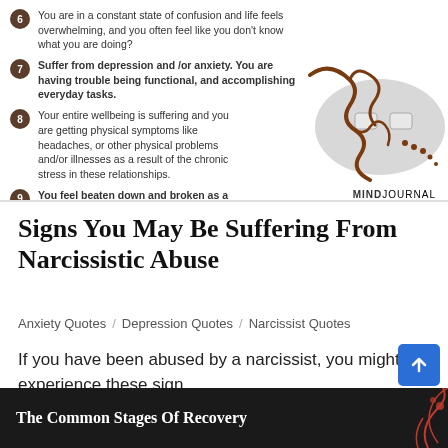[Figure (infographic): Infographic listing signs of narcissistic abuse (items 6-9), with a decorative masquerade mask illustration on the right side and MINDJOURNAL branding.]
Signs You May Be Suffering From Narcissistic Abuse
Anxiety Quotes / Depression Quotes / Narcissist Quotes
If you have been abused by a narcissist, you might experience these sign.
[Figure (infographic): Bottom strip showing partial title 'The Common Stages Of Recovery' with red floral decoration on dark background.]